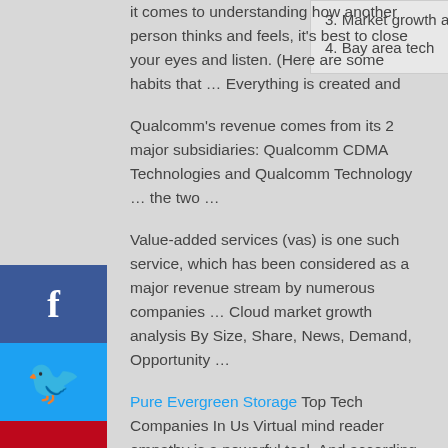3. Market growth analysis
4. Bay area tech
it comes to understanding how another person thinks and feels, it's best to close your eyes and listen. (Here are some habits that … Everything is created and
Qualcomm's revenue comes from its 2 major subsidiaries: Qualcomm CDMA Technologies and Qualcomm Technology … the two …
Value-added services (vas) is one such service, which has been considered as a major revenue stream by numerous companies … Cloud market growth analysis By Size, Share, News, Demand, Opportunity …
Pure Evergreen Storage Top Tech Companies In Us Virtual mind reader empathy is a powerful tool. And according to a recent study, when it comes to understanding how another person thinks and feels, it's best to close your eyes and listen. (Here are